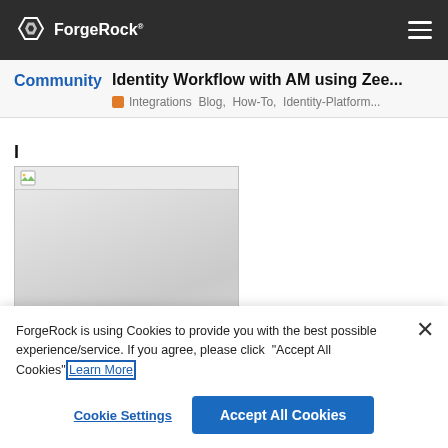ForgeRock
Identity Workflow with AM using Zee...
Integrations  Blog,  How-To,  Identity-Platform...
[Figure (screenshot): Blurred/placeholder screenshot image with a toolbar at top]
ForgeRock is using Cookies to provide you with the best possible experience/service. If you agree, please click "Accept All Cookies" Learn More
Cookie Settings
Accept All Cookies